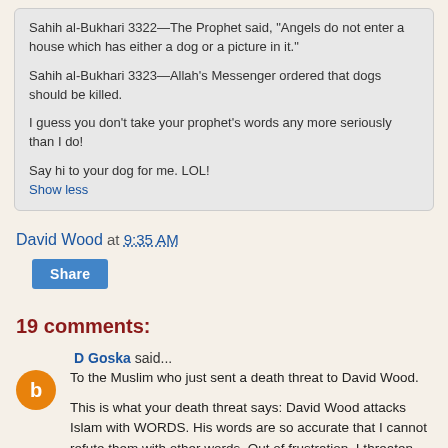Sahih al-Bukhari 3322—The Prophet said, "Angels do not enter a house which has either a dog or a picture in it."

Sahih al-Bukhari 3323—Allah's Messenger ordered that dogs should be killed.

I guess you don't take your prophet's words any more seriously than I do!

Say hi to your dog for me. LOL!
Show less
David Wood at 9:35 AM
Share
19 comments:
D Goska said...

To the Muslim who just sent a death threat to David Wood.

This is what your death threat says: David Wood attacks Islam with WORDS. His words are so accurate that I cannot refute them with other words. Out of frustration, I threaten violence.